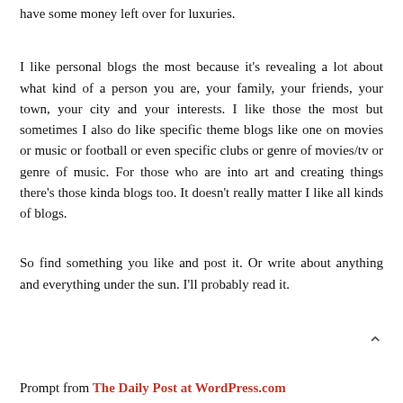have some money left over for luxuries.
I like personal blogs the most because it's revealing a lot about what kind of a person you are, your family, your friends, your town, your city and your interests. I like those the most but sometimes I also do like specific theme blogs like one on movies or music or football or even specific clubs or genre of movies/tv or genre of music. For those who are into art and creating things there's those kinda blogs too. It doesn't really matter I like all kinds of blogs.
So find something you like and post it. Or write about anything and everything under the sun. I'll probably read it.
Prompt from The Daily Post at WordPress.com